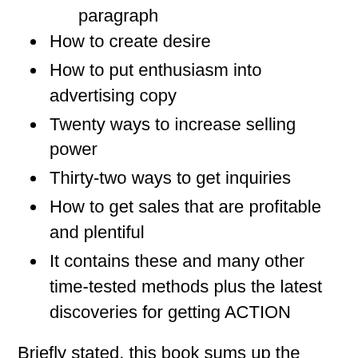paragraph
How to create desire
How to put enthusiasm into advertising copy
Twenty ways to increase selling power
Thirty-two ways to get inquiries
How to get sales that are profitable and plentiful
It contains these and many other time-tested methods plus the latest discoveries for getting ACTION
Briefly stated, this book sums up the results of millions of dollars spent in testing the sales effectiveness of hundreds of different kinds of ads, plut the author’s forty-nine years of experience